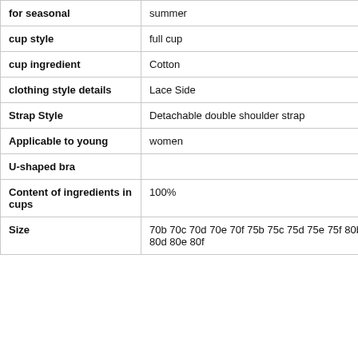| Attribute | Value |
| --- | --- |
| for seasonal | summer |
| cup style | full cup |
| cup ingredient | Cotton |
| clothing style details | Lace Side |
| Strap Style | Detachable double shoulder strap |
| Applicable to young | women |
| U-shaped bra |  |
| Content of ingredients in cups | 100% |
| Size | 70b 70c 70d 70e 70f 75b 75c 75d 75e 75f 80b 80c 80d 80e 80f |